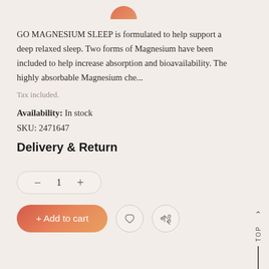[Figure (logo): Orange/pink semicircle logo at top center]
GO MAGNESIUM SLEEP is formulated to help support a deep relaxed sleep. Two forms of Magnesium have been included to help increase absorption and bioavailability. The highly absorbable Magnesium che...
Tax included.
Availability: In stock
SKU: 2471647
Delivery & Return
1
+ Add to cart